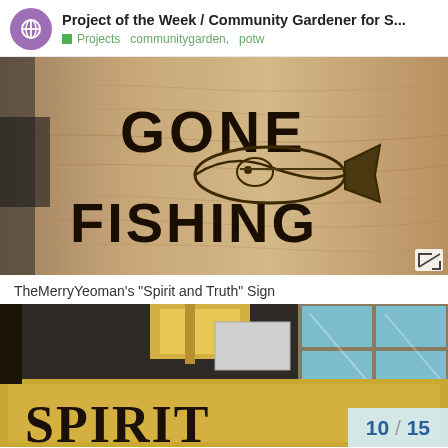Project of the Week / Community Gardener for S... Projects  communitygarden,  potw
[Figure (photo): Wood-burned sign reading GONE FISHING with a carved fish image on light wood]
TheMerryYeoman's "Spirit and Truth" Sign
[Figure (photo): Partial workshop photo showing a framed sign reading SPIRIT at bottom, with boxes and window visible, overlaid with page counter 10 / 15]